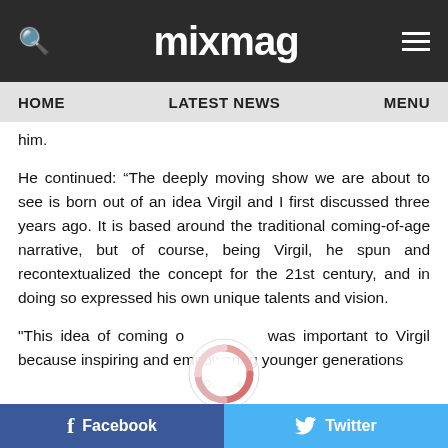mixmag
HOME   LATEST NEWS   MENU
him.
He continued: “The deeply moving show we are about to see is born out of an idea Virgil and I first discussed three years ago. It is based around the traditional coming-of-age narrative, but of course, being Virgil, he spun and recontextualized the concept for the 21st century, and in doing so expressed his own unique talents and vision.
"This idea of coming of age was important to Virgil because inspiring and empowering younger generations
[Figure (other): Circular loading spinner overlay]
Facebook   Twitter